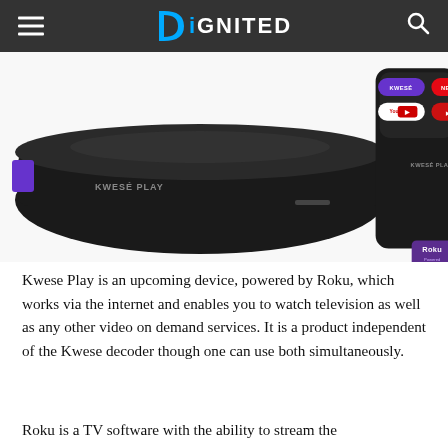DiGNITED
[Figure (photo): Product photo of Kwese Play device (black streaming box) and remote control with KWESE, NETFLIX, YouTube, and DSTV buttons, plus a Roku Powered dongle/stick visible at the bottom of the remote.]
Kwese Play is an upcoming device, powered by Roku, which works via the internet and enables you to watch television as well as any other video on demand services. It is a product independent of the Kwese decoder though one can use both simultaneously.
Roku is a TV software with the ability to stream the